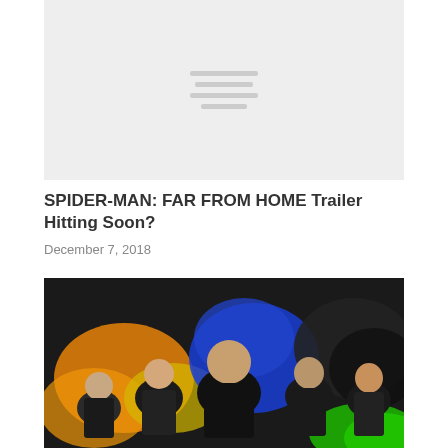[Figure (other): Gray placeholder image with hamburger/loading lines in center]
SPIDER-MAN: FAR FROM HOME Trailer Hitting Soon?
December 7, 2018
[Figure (photo): Movie poster style photo showing multiple characters including a bald man in the center against colorful smoke backgrounds in orange, blue, yellow, green, and black]